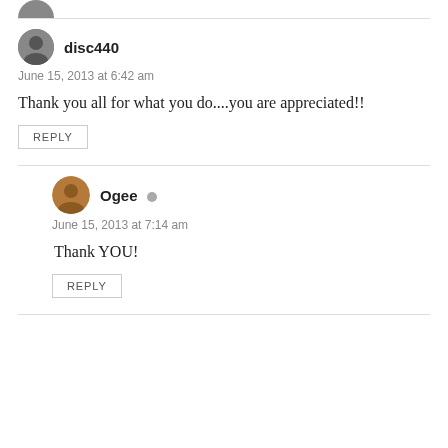[Figure (illustration): Partial avatar of user at top of page (cropped)]
disc440
June 15, 2013 at 6:42 am
Thank you all for what you do....you are appreciated!!
REPLY
[Figure (illustration): Avatar of user Ogee]
Ogee
June 15, 2013 at 7:14 am
Thank YOU!
REPLY